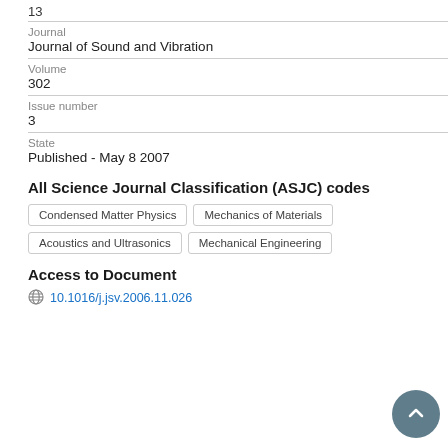13
Journal
Journal of Sound and Vibration
Volume
302
Issue number
3
State
Published - May 8 2007
All Science Journal Classification (ASJC) codes
Condensed Matter Physics
Mechanics of Materials
Acoustics and Ultrasonics
Mechanical Engineering
Access to Document
10.1016/j.jsv.2006.11.026